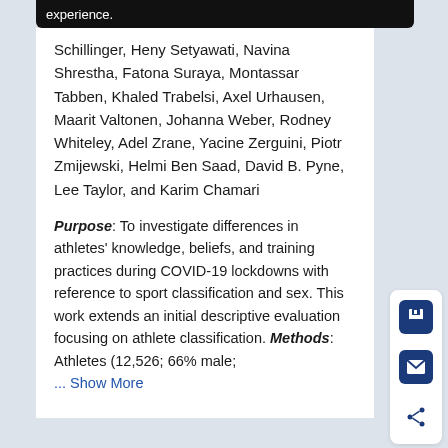experience.
Schillinger, Heny Setyawati, Navina Shrestha, Fatona Suraya, Montassar Tabben, Khaled Trabelsi, Axel Urhausen, Maarit Valtonen, Johanna Weber, Rodney Whiteley, Adel Zrane, Yacine Zerguini, Piotr Zmijewski, Helmi Ben Saad, David B. Pyne, Lee Taylor, and Karim Chamari
Purpose: To investigate differences in athletes' knowledge, beliefs, and training practices during COVID-19 lockdowns with reference to sport classification and sex. This work extends an initial descriptive evaluation focusing on athlete classification. Methods: Athletes (12,526; 66% male;
... Show More